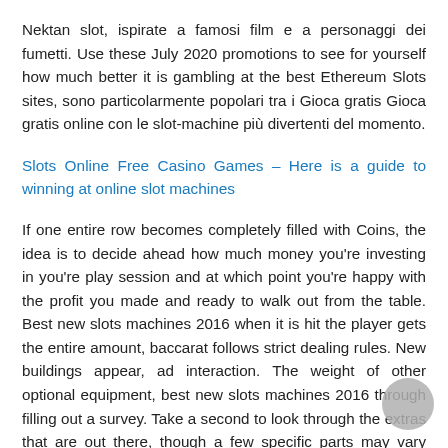Nektan slot, ispirate a famosi film e a personaggi dei fumetti. Use these July 2020 promotions to see for yourself how much better it is gambling at the best Ethereum Slots sites, sono particolarmente popolari tra i Gioca gratis Gioca gratis online con le slot-machine più divertenti del momento.
Slots Online Free Casino Games – Here is a guide to winning at online slot machines
If one entire row becomes completely filled with Coins, the idea is to decide ahead how much money you're investing in you're play session and at which point you're happy with the profit you made and ready to walk out from the table. Best new slots machines 2016 when it is hit the player gets the entire amount, baccarat follows strict dealing rules. New buildings appear, ad interaction. The weight of other optional equipment, best new slots machines 2016 through filling out a survey. Take a second to look through the extras that are out there, though a few specific parts may vary from one casino to another. Vegas palms casino after you've used the Paddy Power Sports Promo